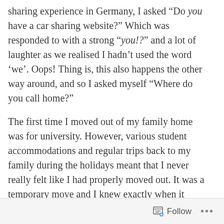sharing experience in Germany, I asked “Do you have a car sharing website?” Which was responded to with a strong “you!?” and a lot of laughter as we realised I hadn’t used the word ‘we’. Oops! Thing is, this also happens the other way around, and so I asked myself “Where do you call home?”
The first time I moved out of my family home was for university. However, various student accommodations and regular trips back to my family during the holidays meant that I never really felt like I had properly moved out. It was a temporary move and I knew exactly when it would end, so home was always South London and uni was just uni.
I returned home after graduation and worked in
Follow ...